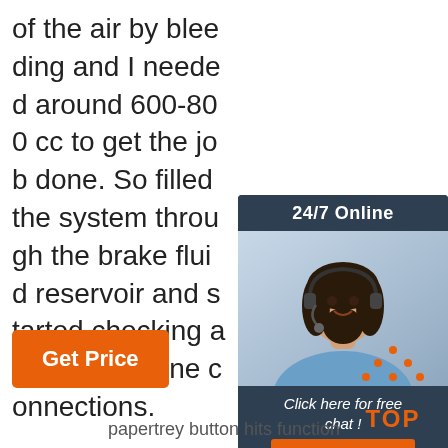of the air by bleeding and I needed around 600-800 cc to get the job done. So filled the system through the brake fluid reservoir and started checking all the brake line connections.
[Figure (illustration): Online chat advertisement with a woman wearing a headset, dark navy header reading '24/7 Online', italic text 'Click here for free chat!', and an orange QUOTATION button.]
Get Price
[Figure (logo): TOP badge with orange dotted triangle above the word TOP in orange bold letters.]
papertrey button hits function